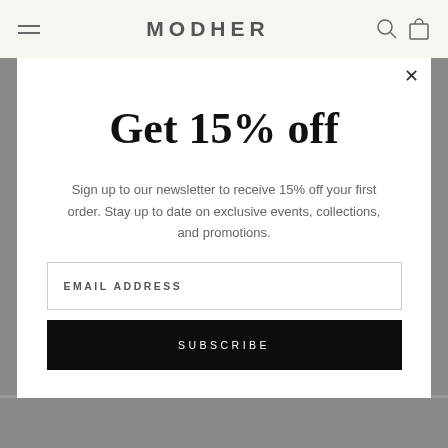MODHER
Get 15% off
Sign up to our newsletter to receive 15% off your first order. Stay up to date on exclusive events, collections, and promotions.
EMAIL ADDRESS
SUBSCRIBE